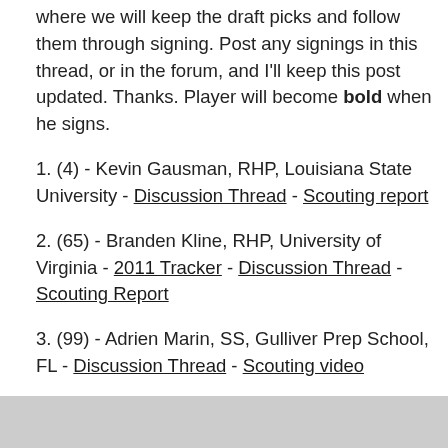where we will keep the draft picks and follow them through signing. Post any signings in this thread, or in the forum, and I'll keep this post updated. Thanks. Player will become bold when he signs.
1. (4) - Kevin Gausman, RHP, Louisiana State University - Discussion Thread - Scouting report
2. (65) - Branden Kline, RHP, University of Virginia - 2011 Tracker - Discussion Thread - Scouting Report
3. (99) - Adrien Marin, SS, Gulliver Prep School, FL - Discussion Thread - Scouting video
4. (132) - Christian Walker, 1B - University of South Carolina - Discussion Thread